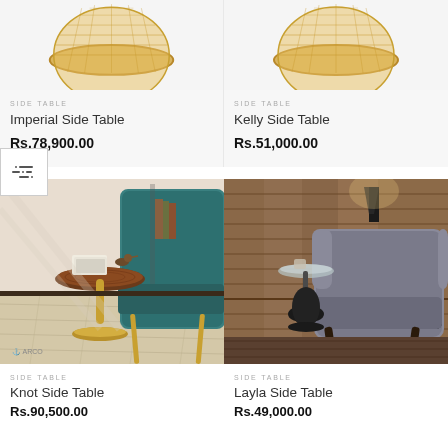[Figure (photo): Top portion of Imperial Side Table product image (cropped, showing part of a round wicker/rattan table top)]
SIDE TABLE
Imperial Side Table
Rs.78,900.00
[Figure (photo): Top portion of Kelly Side Table product image (cropped, showing part of a round wicker/rattan table top)]
SIDE TABLE
Kelly Side Table
Rs.51,000.00
[Figure (photo): Knot Side Table: round wooden top on a brass pedestal base, next to a teal velvet chair, books and decorative bird on table]
SIDE TABLE
Knot Side Table
Rs.90,500.00
[Figure (photo): Layla Side Table: slim round table with black vase base next to a grey wingback armchair, wood-panel wall background]
SIDE TABLE
Layla Side Table
Rs.49,000.00